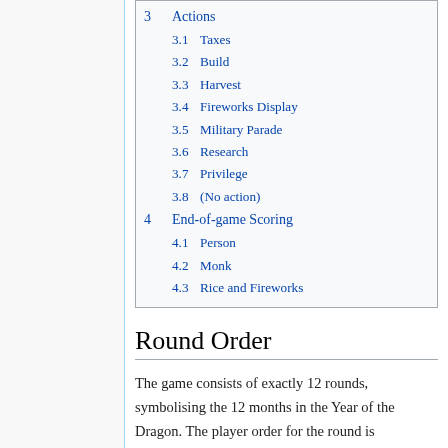3  Actions
3.1  Taxes
3.2  Build
3.3  Harvest
3.4  Fireworks Display
3.5  Military Parade
3.6  Research
3.7  Privilege
3.8  (No action)
4  End-of-game Scoring
4.1  Person
4.2  Monk
4.3  Rice and Fireworks
Round Order
The game consists of exactly 12 rounds, symbolising the 12 months in the Year of the Dragon. The player order for the round is determined by the marker positions of the Persons track. Each